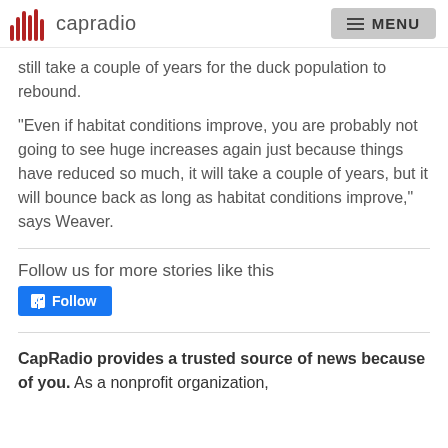capradio | MENU
still take a couple of years for the duck population to rebound.
"Even if habitat conditions improve, you are probably not going to see huge increases again just because things have reduced so much, it will take a couple of years, but it will bounce back as long as habitat conditions improve," says Weaver.
Follow us for more stories like this
[Figure (other): Facebook Follow button]
CapRadio provides a trusted source of news because of you.  As a nonprofit organization,